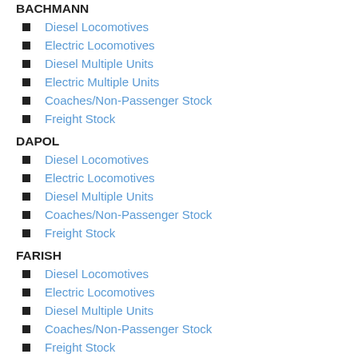BACHMANN
Diesel Locomotives
Electric Locomotives
Diesel Multiple Units
Electric Multiple Units
Coaches/Non-Passenger Stock
Freight Stock
DAPOL
Diesel Locomotives
Electric Locomotives
Diesel Multiple Units
Coaches/Non-Passenger Stock
Freight Stock
FARISH
Diesel Locomotives
Electric Locomotives
Diesel Multiple Units
Coaches/Non-Passenger Stock
Freight Stock
EFE Rail